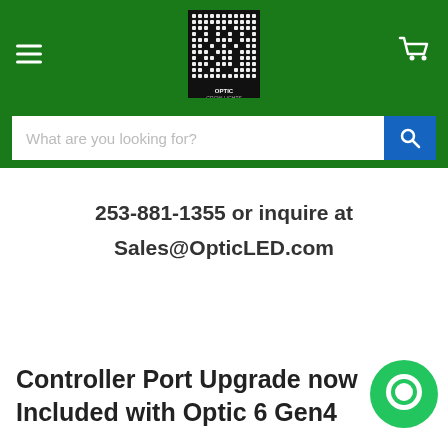Optic Grow Lights — navigation header with logo, hamburger menu, and cart icon
What are you looking for?
253-881-1355 or inquire at Sales@OpticLED.com
Controller Port Upgrade now Included with Optic 6 Gen4